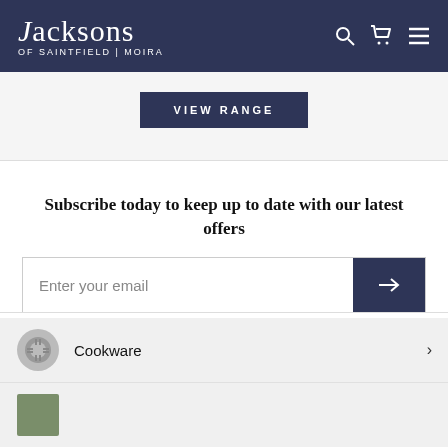Jacksons OF SAINTFIELD | MOIRA
VIEW RANGE
Subscribe today to keep up to date with our latest offers
Enter your email
Cookware